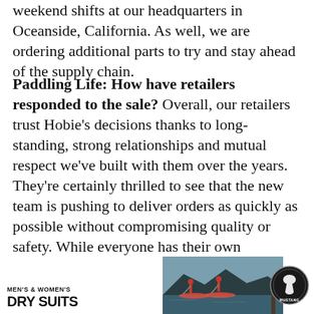weekend shifts at our headquarters in Oceanside, California. As well, we are ordering additional parts to try and stay ahead of the supply chain.
Paddling Life: How have retailers responded to the sale? Overall, our retailers trust Hobie's decisions thanks to long-standing, strong relationships and mutual respect we've built with them over the years. They're certainly thrilled to see that the new team is pushing to deliver orders as quickly as possible without compromising quality or safety. While everyone has their own perspective, the transition news has primarily been met with optimism, understanding, and a shared sense of trust in the growth of Hobie's legacy.
[Figure (photo): Advertisement banner showing two people paddleboarding on a lake with mountains in background, with 'MEN'S & WOMEN'S DRY SUITS' text on left and Mustang Survival logo on right]